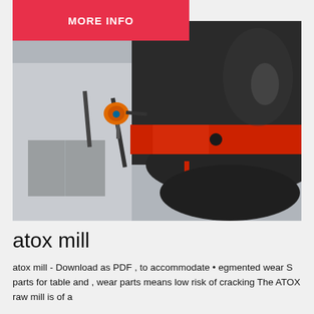MORE INFO
[Figure (photo): Close-up industrial photograph of an ATOX raw mill grinding mechanism showing a large dark circular drum with a red horizontal band/ring around it, mounted on a frame structure outside an industrial building. An orange sensor or device is visible on the left side.]
atox mill
atox mill - Download as PDF , to accommodate • egmented wear S parts for table and , wear parts means low risk of cracking The ATOX raw mill is of a